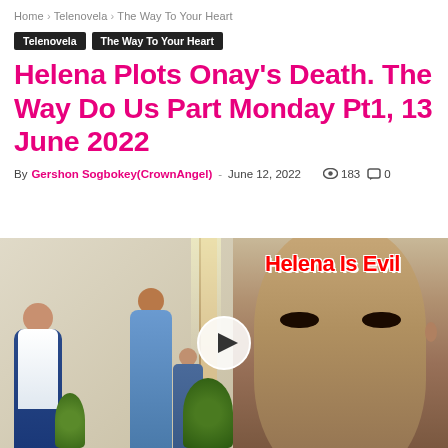Home › Telenovela › The Way To Your Heart
Telenovela   The Way To Your Heart
Helena Plots Onay's Death. The Way Do Us Part Monday Pt1, 13 June 2022
By Gershon Sogbokey(CrownAngel) - June 12, 2022   183   0
[Figure (screenshot): Video thumbnail showing two characters in a room scene on the left, and a close-up of a woman's face on the right. Red bold text overlay reads 'Helena Is Evil'. A white play button circle is overlaid in the center.]